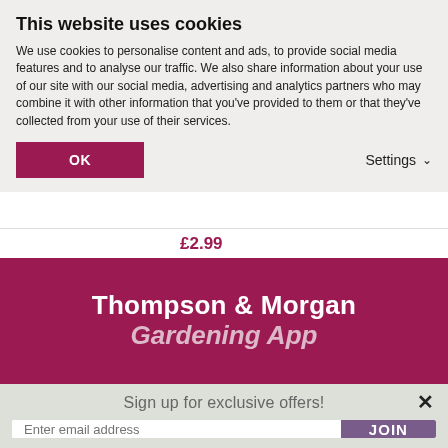This website uses cookies
We use cookies to personalise content and ads, to provide social media features and to analyse our traffic. We also share information about your use of our site with our social media, advertising and analytics partners who may combine it with other information that you've provided to them or that they've collected from your use of their services.
OK
Settings
£2.99
Thompson & Morgan Gardening App
Sign up for exclusive offers!
Enter email address
JOIN